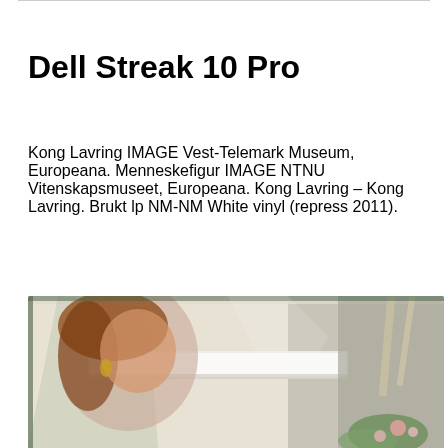Dell Streak 10 Pro
Kong Lavring IMAGE Vest-Telemark Museum, Europeana. Menneskefigur IMAGE NTNU Vitenskapsmuseet, Europeana. Kong Lavring – Kong Lavring. Brukt lp NM-NM White vinyl (repress 2011).
[Figure (photo): A woman with red hair and gold earrings viewed through a vehicle window or reflective surface, with greenery/flowers visible in the lower right corner. The image appears to be a candid or wedding-style photograph.]